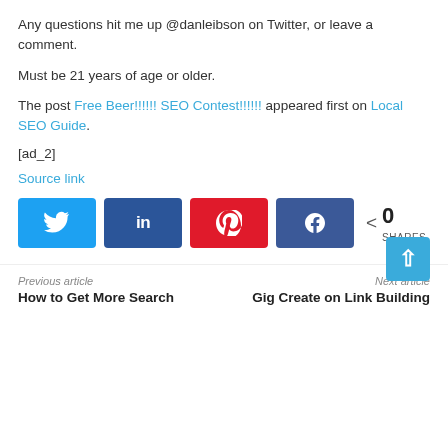Any questions hit me up @danleibson on Twitter, or leave a comment.
Must be 21 years of age or older.
The post Free Beer!!!!!! SEO Contest!!!!!! appeared first on Local SEO Guide.
[ad_2]
Source link
[Figure (other): Social share buttons: Twitter, LinkedIn, Pinterest, Facebook, with 0 SHARES count]
Previous article
How to Get More Search
Next article
Gig Create on Link Building